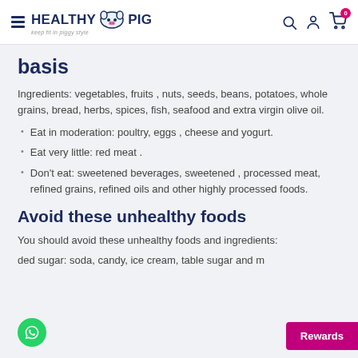HEALTHY PIG - keep fit in piggy style
basis
Ingredients: vegetables, fruits , nuts, seeds, beans, potatoes, whole grains, bread, herbs, spices, fish, seafood and extra virgin olive oil.
Eat in moderation: poultry, eggs , cheese and yogurt.
Eat very little: red meat .
Don't eat: sweetened beverages, sweetened , processed meat, refined grains, refined oils and other highly processed foods.
Avoid these unhealthy foods
You should avoid these unhealthy foods and ingredients:
ded sugar: soda, candy, ice cream, table sugar and m...